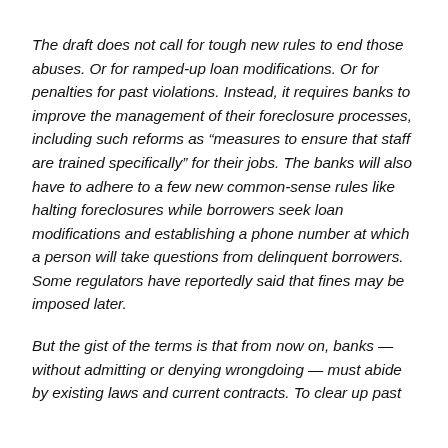The draft does not call for tough new rules to end those abuses. Or for ramped-up loan modifications. Or for penalties for past violations. Instead, it requires banks to improve the management of their foreclosure processes, including such reforms as “measures to ensure that staff are trained specifically” for their jobs. The banks will also have to adhere to a few new common-sense rules like halting foreclosures while borrowers seek loan modifications and establishing a phone number at which a person will take questions from delinquent borrowers. Some regulators have reportedly said that fines may be imposed later.
But the gist of the terms is that from now on, banks — without admitting or denying wrongdoing — must abide by existing laws and current contracts. To clear up past